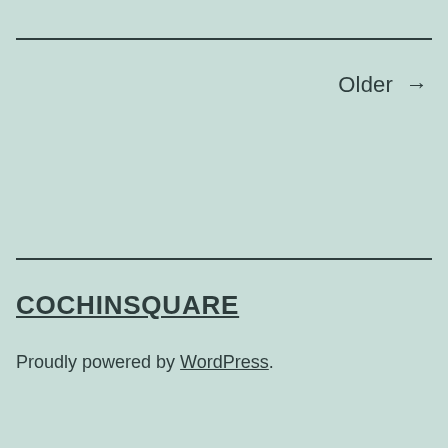Older →
COCHINSQUARE
Proudly powered by WordPress.